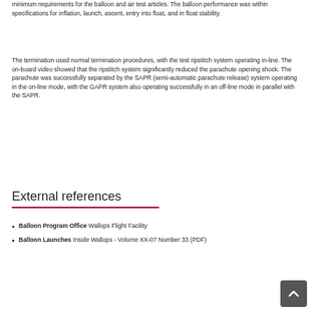minimum requirements for the balloon and air test articles. The balloon performance was within specifications for inflation, launch, ascent, entry into float, and in float stability.
The termination used normal termination procedures, with the test ripstitch system operating in-line. The on-board video showed that the ripstitch system significantly reduced the parachute opening shock. The parachute was successfully separated by the SAPR (semi-automatic parachute release) system operating in the on-line mode, with the GAPR system also operating successfully in an off-line mode in parallel with the SAPR.
External references
Balloon Program Office Wallops Flight Facility
Balloon Launches Inside Wallops - Volume XX-07 Number 33 (PDF)